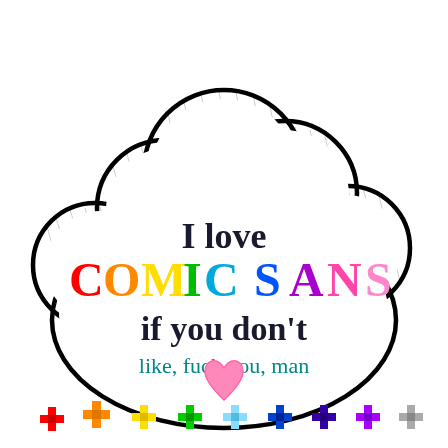[Figure (illustration): A cartoon thought cloud shape with thick black outline containing the text 'I love COMIC SANS if you don't like, fuck you, man' with a pink heart. Below the cloud are 8 pixel-art cross/plus shapes in rainbow colors.]